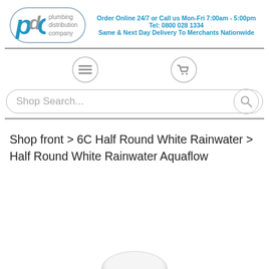[Figure (logo): PDC Plumbing Distribution Company logo — oval border with stylized 'PdC' letters and text 'plumbing distribution company']
Order Online 24/7 or Call us Mon-Fri 7:00am - 5:00pm
Tel: 0800 028 1334
Same & Next Day Delivery To Merchants Nationwide
[Figure (infographic): Navigation icons row: hamburger menu icon in circle and shopping cart icon in circle]
Shop Search...
Shop front > 6C Half Round White Rainwater > Half Round White Rainwater Aquaflow
[Figure (photo): Partial product image visible at bottom of page — appears to be a white rainwater fitting]